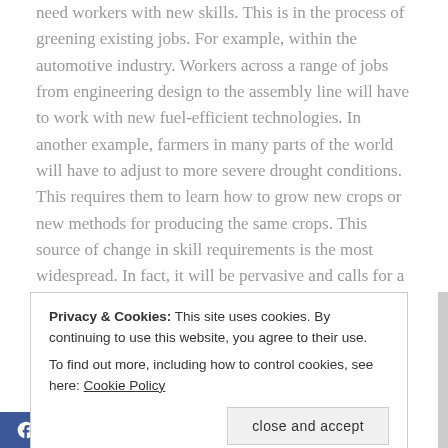need workers with new skills. This is in the process of greening existing jobs. For example, within the automotive industry. Workers across a range of jobs from engineering design to the assembly line will have to work with new fuel-efficient technologies. In another example, farmers in many parts of the world will have to adjust to more severe drought conditions. This requires them to learn how to grow new crops or new methods for producing the same crops. This source of change in skill requirements is the most widespread. In fact, it will be pervasive and calls for a major effort to revise existing curricula, qualification standards and training programmes. This will affect all levels of education and
Privacy & Cookies: This site uses cookies. By continuing to use this website, you agree to their use.
To find out more, including how to control cookies, see here: Cookie Policy
close and accept
All three source                                        n industries